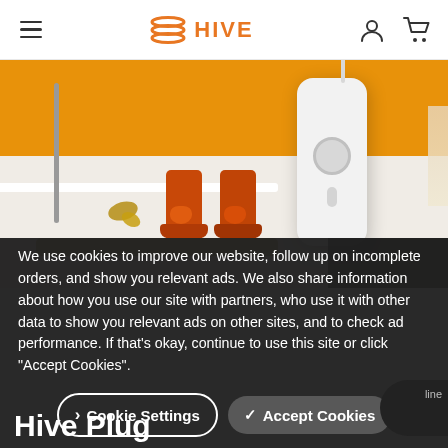HIVE — navigation header with hamburger menu, logo, account icon, cart icon
[Figure (photo): Hero product photo showing a Hive smart home device (white rectangular device with circular button) next to orange children's wellington boots on a light floor with a yellow/orange wall backdrop, a fallen autumn leaf, and a braided rug]
We use cookies to improve our website, follow up on incomplete orders, and show you relevant ads. We also share information about how you use our site with partners, who use it with other data to show you relevant ads on other sites, and to check ad performance. If that's okay, continue to use this site or click "Accept Cookies".
Cookie Settings
✓ Accept Cookies
Hive Plug